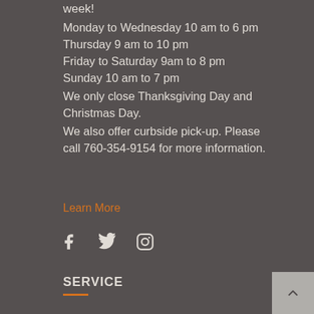week!
Monday to Wednesday 10 am to 6 pm
Thursday 9 am to 10 pm
Friday to Saturday 9am to 8 pm
Sunday 10 am to 7 pm
We only close Thanksgiving Day and Christmas Day.
We also offer curbside pick-up. Please call 760-354-9154 for more information.
Learn More
[Figure (other): Social media icons: Facebook, Twitter, Instagram]
SERVICE
[Figure (other): Scroll to top button with upward chevron arrow in bottom right corner]